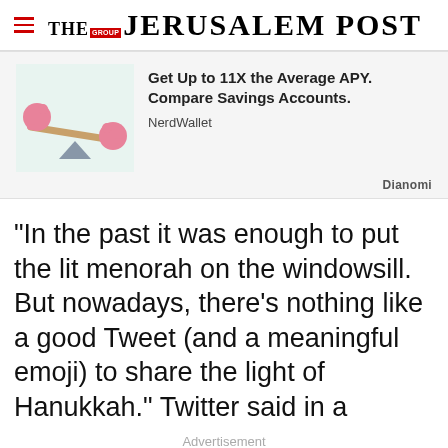THE JERUSALEM POST
[Figure (illustration): Advertisement banner showing a seesaw with two pink piggy banks, one on each end, balancing on a triangular fulcrum with a light blue background. NerdWallet ad for savings accounts.]
Get Up to 11X the Average APY. Compare Savings Accounts.
NerdWallet
Dianomi
"In the past it was enough to put the lit menorah on the windowsill. But nowadays, there's nothing like a good Tweet (and a meaningful emoji) to share the light of Hanukkah." Twitter said in a
Advertisement